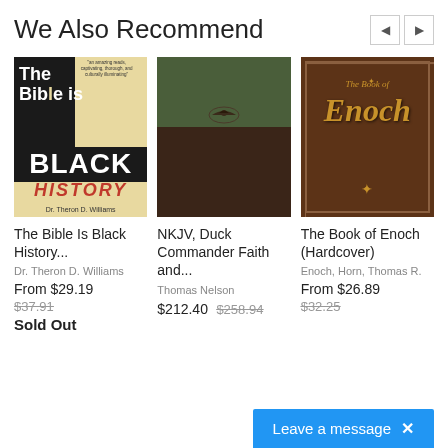We Also Recommend
[Figure (photo): Book cover: The Bible Is Black History by Dr. Theron D. Williams]
The Bible Is Black History...
Dr. Theron D. Williams
From $29.19
$37.91
Sold Out
[Figure (photo): Book cover: NKJV Duck Commander Faith and... green and brown leather Bible]
NKJV, Duck Commander Faith and...
Thomas Nelson
$212.40
$258.94
[Figure (photo): Book cover: The Book of Enoch (Hardcover) ornate brown leather cover]
The Book of Enoch (Hardcover)
Enoch, Horn, Thomas R.
From $26.89
$32.25
Leave a message